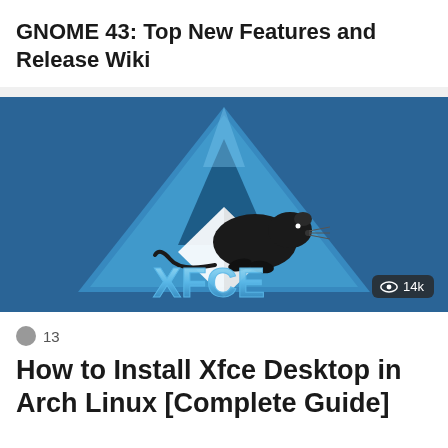GNOME 43: Top New Features and Release Wiki
[Figure (logo): Xfce desktop environment logo: a black mouse/rat silhouette on a light geometric diamond shape, with a large blue triangle behind it, on a dark blue background. The text 'XFCE' in stylized icy blue lettering at the bottom. A view count badge showing an eye icon and '14k' in the bottom right corner.]
13
How to Install Xfce Desktop in Arch Linux [Complete Guide]